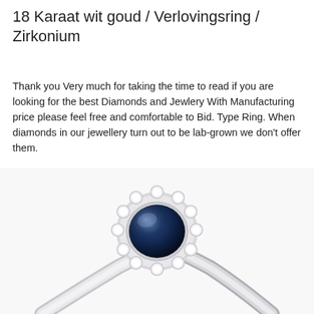18 Karaat wit goud / Verlovingsring / Zirkonium
Thank you Very much for taking the time to read if you are looking for the best Diamonds and Jewlery With Manufacturing price please feel free and comfortable to Bid. Type Ring. When diamonds in our jewellery turn out to be lab-grown we don't offer them.
[Figure (photo): Close-up photo of an 18 karat white gold engagement ring featuring a large oval blue sapphire (zirconium) center stone surrounded by a halo of small round white diamonds, set on a slim polished white gold band, photographed on a white background.]